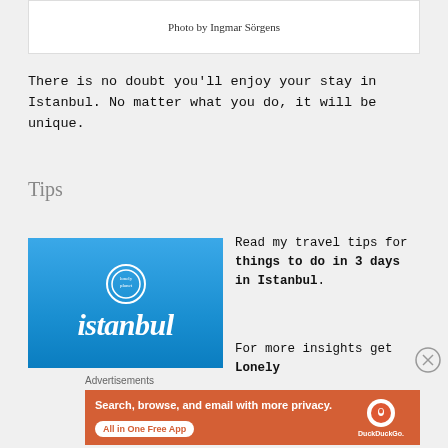Photo by Ingmar Sörgens
There is no doubt you'll enjoy your stay in Istanbul. No matter what you do, it will be unique.
Tips
[Figure (illustration): Lonely Planet Istanbul book cover with blue gradient background and italic white text reading 'istanbul']
Read my travel tips for things to do in 3 days in Istanbul.
For more insights get Lonely
Advertisements
[Figure (infographic): DuckDuckGo advertisement banner with orange background. Text: 'Search, browse, and email with more privacy. All in One Free App'. Shows DuckDuckGo logo on a phone.]